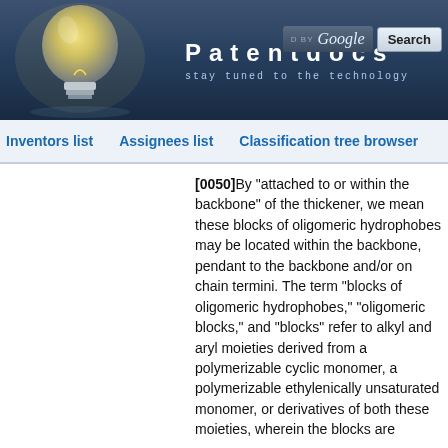Patentdocs — stay tuned to the technology
Inventors list   Assignees list   Classification tree browser
[0050]By "attached to or within the backbone" of the thickener, we mean these blocks of oligomeric hydrophobes may be located within the backbone, pendant to the backbone and/or on chain termini. The term "blocks of oligomeric hydrophobes," "oligomeric blocks," and "blocks" refer to alkyl and aryl moieties derived from a polymerizable cyclic monomer, a polymerizable ethylenically unsaturated monomer, or derivatives of both these moieties, wherein the blocks are